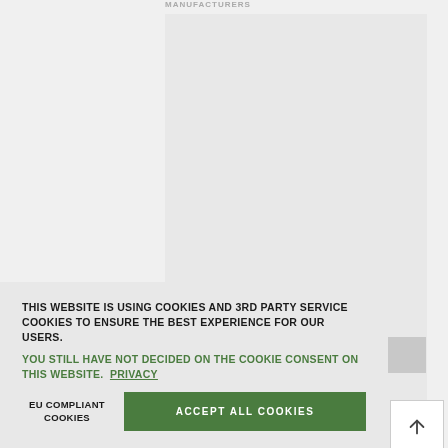MANUFACTURERS
[Figure (other): Large gray placeholder content card area]
BETTE
osnabrück, Germany
THIS WEBSITE IS USING COOKIES AND 3RD PARTY SERVICE COOKIES TO ENSURE THE BEST EXPERIENCE FOR OUR USERS.
YOU STILL HAVE NOT DECIDED ON THE COOKIE CONSENT ON THIS WEBSITE. PRIVACY MORE
EU COMPLIANT COOKIES
ACCEPT ALL COOKIES